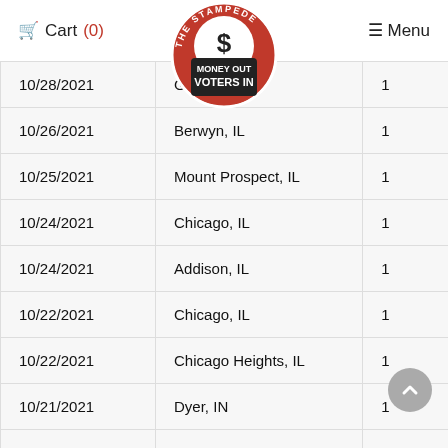Cart (0)  [The Stampede – Money Out Voters In logo]  Menu
| Date | Location | Qty |
| --- | --- | --- |
| 10/28/2021 | Glenvi… | 1 |
| 10/26/2021 | Berwyn, IL | 1 |
| 10/25/2021 | Mount Prospect, IL | 1 |
| 10/24/2021 | Chicago, IL | 1 |
| 10/24/2021 | Addison, IL | 1 |
| 10/22/2021 | Chicago, IL | 1 |
| 10/22/2021 | Chicago Heights, IL | 1 |
| 10/21/2021 | Dyer, IN | 1 |